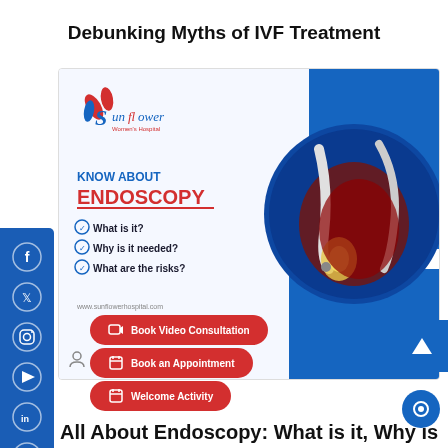Debunking Myths of IVF Treatment
[Figure (infographic): Sunflower Hospital 'Know About Endoscopy' infographic with anatomical stomach illustration, bullet points: What is it?, Why is it needed?, What are the risks?, website URL www.sunflowerhospital.com, social media sidebar with Facebook, Twitter, Instagram, YouTube, LinkedIn, WhatsApp icons, three CTA buttons: Book Video Consultation, Book an Appointment, Welcome Activity, and a scroll-up arrow button]
Post By: Admin
All About Endoscopy: What is it, Why is